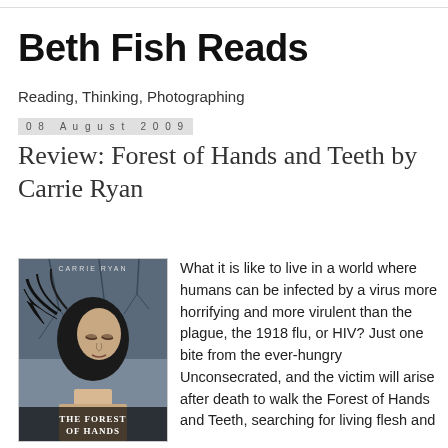Beth Fish Reads
Reading, Thinking, Photographing
08 August 2009
Review: Forest of Hands and Teeth by Carrie Ryan
[Figure (photo): Book cover of 'The Forest of Hands and Teeth' by Carrie Ryan, showing a young woman with dark hair blowing in wind against a dark/misty background. Text at bottom reads 'THE FOREST OF HANDS' in white letters.]
What it is like to live in a world where humans can be infected by a virus more horrifying and more virulent than the plague, the 1918 flu, or HIV? Just one bite from the ever-hungry Unconsecrated, and the victim will arise after death to walk the Forest of Hands and Teeth, searching for living flesh and